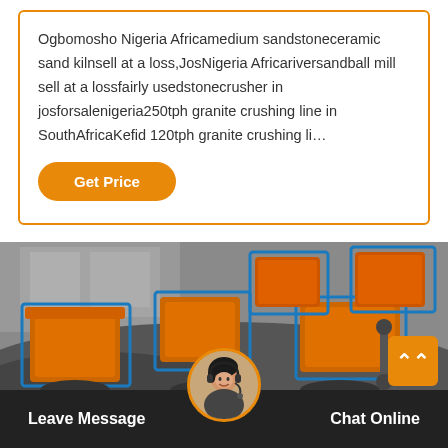Ogbomosho Nigeria Africamedium sandstoneceramic sand kilnsell at a loss,JosNigeria Africariversandball mill sell at a lossfairly usedstonecrusher in josforsalenigeria250tph granite crushing line in SouthAfricaKefid 120tph granite crushing li…
Get Price
[Figure (photo): Industrial orange stone crusher machines with blue-outlined boxes in a grey industrial setting]
Leave Message
Chat Online